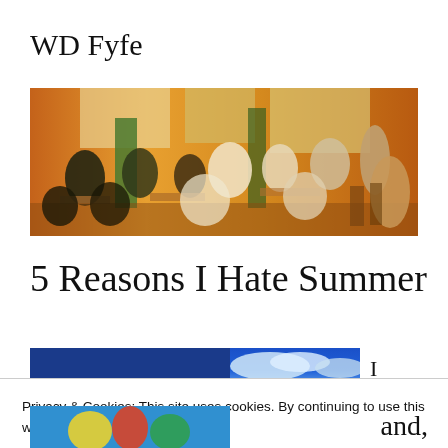WD Fyfe
[Figure (photo): Warm-toned stylized photo of a busy restaurant or café interior with many people seated at tables, windows in the background, orange and green color cast]
5 Reasons I Hate Summer
[Figure (photo): Blue sky with clouds, partial view with a blue overlay bar on the left portion]
Privacy & Cookies: This site uses cookies. By continuing to use this website, you agree to their use.
To find out more, including how to control cookies, see here: Cookie Policy
Close and accept
[Figure (photo): Partial bottom image strip with colorful subjects]
and,